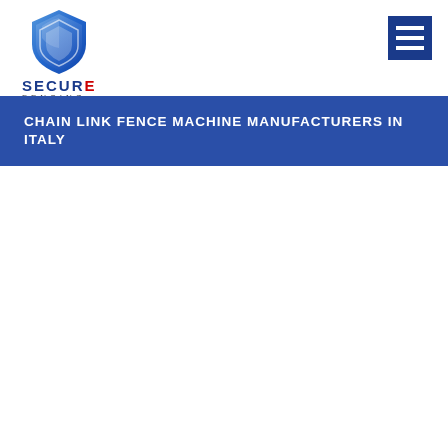[Figure (logo): Secure Fencing logo with blue shield icon and company name text]
CHAIN LINK FENCE MACHINE MANUFACTURERS IN ITALY